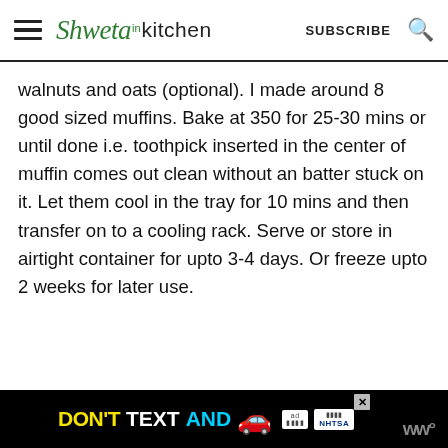Shweta in Kitchen | SUBSCRIBE
walnuts and oats (optional). I made around 8 good sized muffins. Bake at 350 for 25-30 mins or until done i.e. toothpick inserted in the center of muffin comes out clean without an batter stuck on it. Let them cool in the tray for 10 mins and then transfer on to a cooling rack. Serve or store in airtight container for upto 3-4 days. Or freeze upto 2 weeks for later use.
[Figure (screenshot): Advertisement banner: DON'T TEXT AND [car emoji] with ad badge and NHTSA logo on black background]